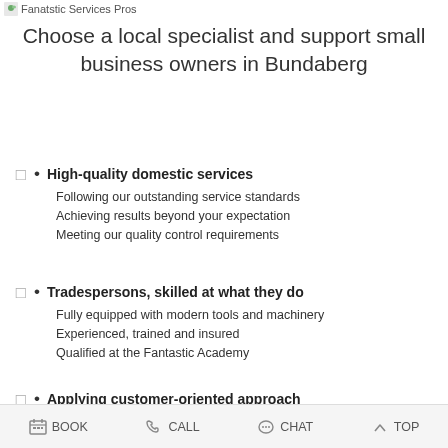Fanatstic Services Pros
Choose a local specialist and support small business owners in Bundaberg
High-quality domestic services
Following our outstanding service standards
Achieving results beyond your expectation
Meeting our quality control requirements
Tradespersons, skilled at what they do
Fully equipped with modern tools and machinery
Experienced, trained and insured
Qualified at the Fantastic Academy
Applying customer-oriented approach
Prompt, polite and friendly
Meeting your specific needs
BOOK  CALL  CHAT  TOP